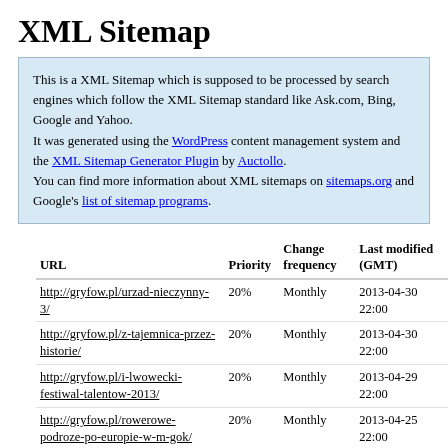XML Sitemap
This is a XML Sitemap which is supposed to be processed by search engines which follow the XML Sitemap standard like Ask.com, Bing, Google and Yahoo.
It was generated using the WordPress content management system and the XML Sitemap Generator Plugin by Auctollo.
You can find more information about XML sitemaps on sitemaps.org and Google's list of sitemap programs.
| URL | Priority | Change frequency | Last modified (GMT) |
| --- | --- | --- | --- |
| http://gryfow.pl/urzad-nieczynny-3/ | 20% | Monthly | 2013-04-30 22:00 |
| http://gryfow.pl/z-tajemnica-przez-historie/ | 20% | Monthly | 2013-04-30 22:00 |
| http://gryfow.pl/i-lwowecki-festiwal-talentow-2013/ | 20% | Monthly | 2013-04-29 22:00 |
| http://gryfow.pl/rowerowe-podroze-po-europie-w-m-gok/ | 20% | Monthly | 2013-04-25 22:00 |
| http://gryfow.pl/zapraszamy-na-majowke-3-maja/ | 20% | Monthly | 2013-04-25 22:00 |
| http://gryfow.pl/obchody-swieta-konstytucji-3-maja-w-gryfowie-slaski/ | 20% | Monthly | 2013-04-25 22:00 |
| http://gryfow.pl/szanowni-panstwo/ | 20% | Monthly | 2013-04-25 22:00 |
| http://gryfow.pl/izerska-parada- | 20% | Monthly | 2013-04-25 22:00 |